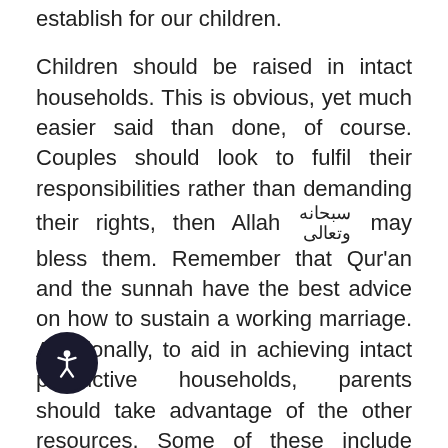establish for our children.
Children should be raised in intact households. This is obvious, yet much easier said than done, of course. Couples should look to fulfil their responsibilities rather than demanding their rights, then Allah سبحانه وتعالى may bless them. Remember that Qur'an and the sunnah have the best advice on how to sustain a working marriage. Additionally, to aid in achieving intact productive households, parents should take advantage of the other resources. Some of these include counselling (recommended in Qur'an), books, websites and suggestions from relatives and friends from whom we may gain helpful advice and encouragement.
[Figure (other): Accessibility icon — a dark circular button with a white figure/person accessibility symbol]